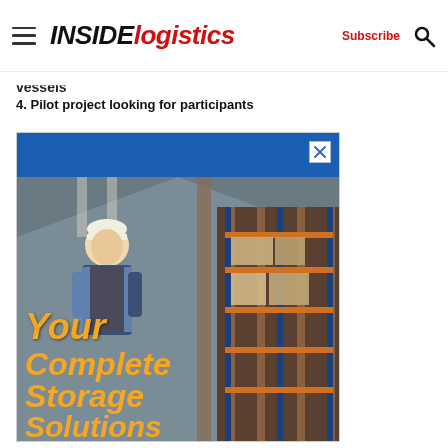INSIDE logistics — Subscribe
vessels
4. Pilot project looking for participants
[Figure (photo): Advertisement banner showing a warehouse worker in a hard hat looking up at warehouse shelving with orange-tinted overlay text reading 'Your Complete Storage Solutions']